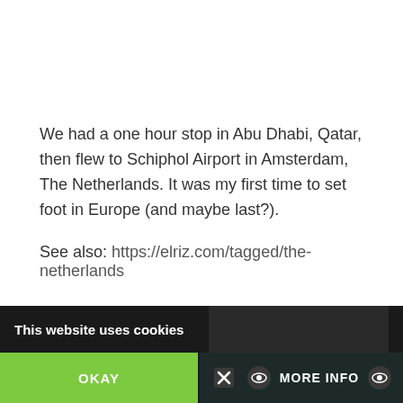We had a one hour stop in Abu Dhabi, Qatar, then flew to Schiphol Airport in Amsterdam, The Netherlands. It was my first time to set foot in Europe (and maybe last?).
See also: https://elriz.com/tagged/the-netherlands
[Figure (screenshot): Cookie consent banner at bottom of webpage: dark background with 'This website uses cookies' text, green OKAY button on left, MORE INFO button on right with icons]